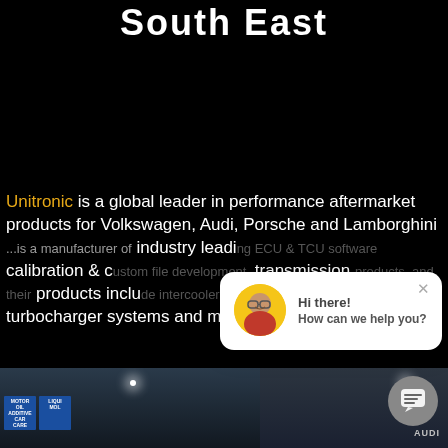South East
Unitronic is a global leader in performance aftermarket products for Volkswagen, Audi, Porsche and Lamborghini. Unitronic is a manufacturer of industry leading ECU & TCU software calibration & custom file development, transmission products, and their products include turbo inlets, turbocharger systems and more.
[Figure (screenshot): Chat popup with avatar photo of a smiling woman with glasses on yellow background, text reads: Hi there! How can we help you? with an X close button]
[Figure (photo): Bottom left: interior of an automotive performance shop with blue signage including Liqui-Moly and other brands, ceiling lights visible]
[Figure (photo): Bottom right: interior of automotive shop with Audi badge visible and ceiling lights]